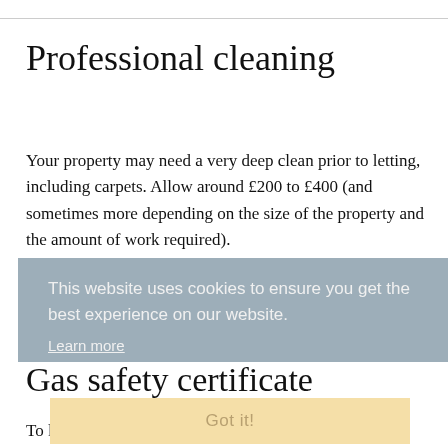Professional cleaning
Your property may need a very deep clean prior to letting, including carpets. Allow around £200 to £400 (and sometimes more depending on the size of the property and the amount of work required).
This website uses cookies to ensure you get the best experience on our website.
Learn more
Gas safety certificate
Got it!
To let a property compliantly you will need a valid Gas